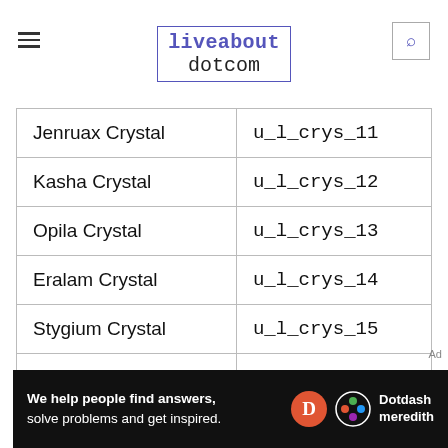liveabout dotcom
| Jenruax Crystal | u_l_crys_11 |
| Kasha Crystal | u_l_crys_12 |
| Opila Crystal | u_l_crys_13 |
| Eralam Crystal | u_l_crys_14 |
| Stygium Crystal | u_l_crys_15 |
| Damind Crystal | u_l_crys_16 |
| Sapith Crystal | u_l_crys_17 |
|  |  |
We help people find answers, solve problems and get inspired. Dotdash meredith